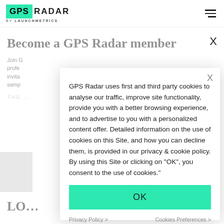[Figure (logo): GPS Radar by Launchmetrics logo with teal/green GPS box and hamburger menu icon]
Become a GPS Radar member
Join G... profe... invita... samp...
GPS Radar uses first and third party cookies to analyse our traffic, improve site functionality, provide you with a better browsing experience, and to advertise to you with a personalized content offer. Detailed information on the use of cookies on this Site, and how you can decline them, is provided in our privacy & cookie policy. By using this Site or clicking on "OK", you consent to the use of cookies."
OK
Privacy Policy >
Cookies Preferences >